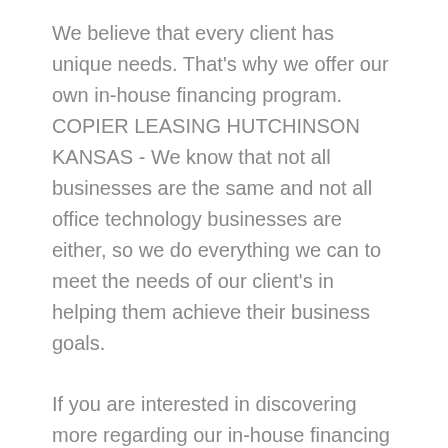We believe that every client has unique needs. That's why we offer our own in-house financing program. COPIER LEASING HUTCHINSON KANSAS - We know that not all businesses are the same and not all office technology businesses are either, so we do everything we can to meet the needs of our client's in helping them achieve their business goals.
If you are interested in discovering more regarding our in-house financing program or if you just intend to have a discussion concerning your service demands, call us and also request a conference with among our organisation innovation consultants. Allow us show you exactly how we are various as well as just how we can